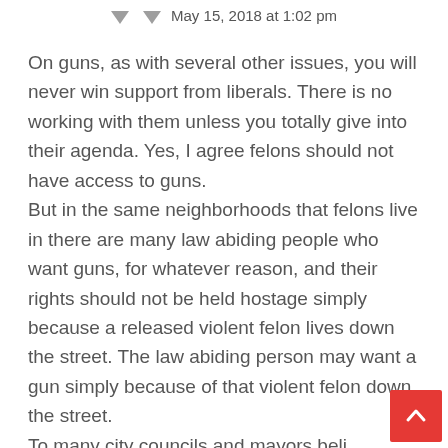May 15, 2018 at 1:02 pm
On guns, as with several other issues, you will never win support from liberals. There is no working with them unless you totally give into their agenda. Yes, I agree felons should not have access to guns.
But in the same neighborhoods that felons live in there are many law abiding people who want guns, for whatever reason, and their rights should not be held hostage simply because a released violent felon lives down the street. The law abiding person may want a gun simply because of that violent felon down the street.
To many city councils and mayors beli… they are the royal court of their city or town.